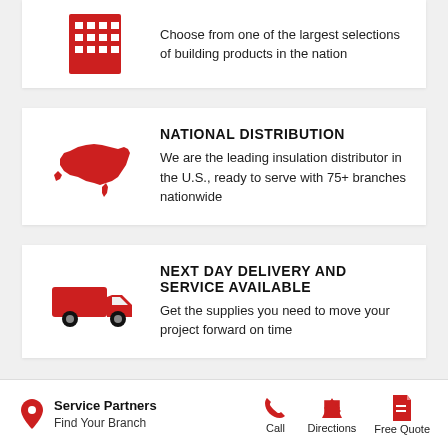[Figure (illustration): Red building/warehouse icon with grid windows]
Choose from one of the largest selections of building products in the nation
[Figure (illustration): Red USA map silhouette icon]
NATIONAL DISTRIBUTION
We are the leading insulation distributor in the U.S., ready to serve with 75+ branches nationwide
[Figure (illustration): Red delivery truck icon]
NEXT DAY DELIVERY AND SERVICE AVAILABLE
Get the supplies you need to move your project forward on time
Service Partners  Find Your Branch  Call  Directions  Free Quote